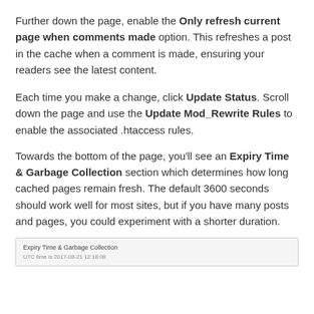Further down the page, enable the Only refresh current page when comments made option. This refreshes a post in the cache when a comment is made, ensuring your readers see the latest content.
Each time you make a change, click Update Status. Scroll down the page and use the Update Mod_Rewrite Rules to enable the associated .htaccess rules.
Towards the bottom of the page, you'll see an Expiry Time & Garbage Collection section which determines how long cached pages remain fresh. The default 3600 seconds should work well for most sites, but if you have many posts and pages, you could experiment with a shorter duration.
[Figure (screenshot): Screenshot showing 'Expiry Time & Garbage Collection' section header and 'UTC time is 2017-08-21 12:18:08' label]